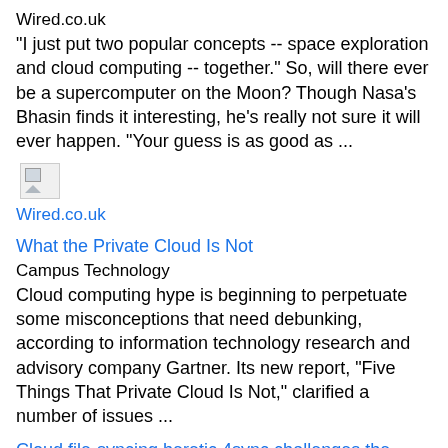Wired.co.uk
"I just put two popular concepts -- space exploration and cloud computing -- together." So, will there ever be a supercomputer on the Moon? Though Nasa's Bhasin finds it interesting, he's really not sure it will ever happen. "Your guess is as good as ...
[Figure (other): Broken image placeholder icon]
Wired.co.uk
What the Private Cloud Is Not
Campus Technology
Cloud computing hype is beginning to perpetuate some misconceptions that need debunking, according to information technology research and advisory company Gartner. Its new report, "Five Things That Private Cloud Is Not," clarified a number of issues ...
Cloud file-syncing heretic 4sync challenges the gospel of Dropbox
VentureBeat
"We believe in consumer freedom — freedom to use any